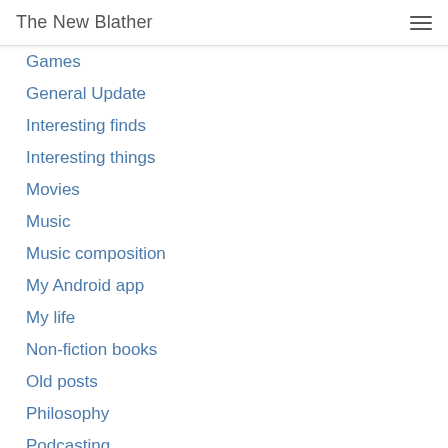The New Blather
Games
General Update
Interesting finds
Interesting things
Movies
Music
Music composition
My Android app
My life
Non-fiction books
Old posts
Philosophy
Podcasting
Polls
Problems
Programming